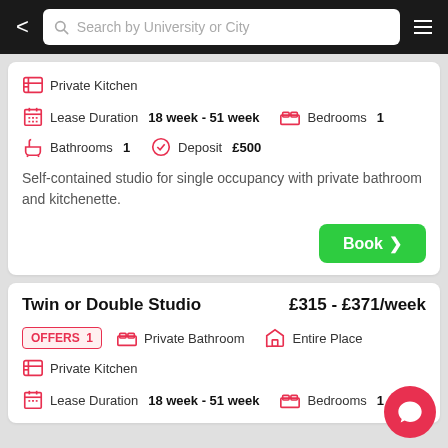Search by University or City
Private Kitchen
Lease Duration 18 week - 51 week  |  Bedrooms 1
Bathrooms 1  |  Deposit £500
Self-contained studio for single occupancy with private bathroom and kitchenette.
Book
Twin or Double Studio  £315 - £371/week
OFFERS 1  |  Private Bathroom  |  Entire Place
Private Kitchen
Lease Duration 18 week - 51 week  |  Bedrooms 1